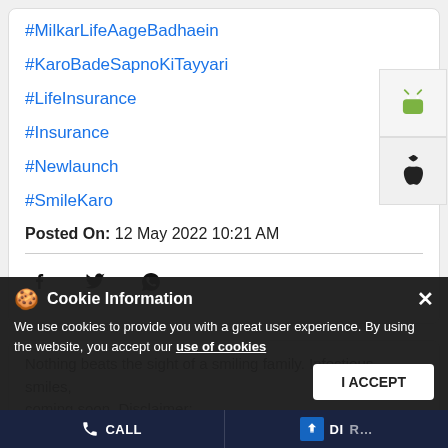#MilkarLifeAageBadhaein
#KaroBadeSapnoKiTayyari
#LifeInsurance
#Insurance
#Newlaunch
#SmileKaro
Posted On: 12 May 2022 10:21 AM
[Figure (screenshot): Social share icons: Facebook, Twitter, WhatsApp]
[Figure (logo): Android and Apple app store download badges on right side]
Nothing beats the sight of a smiling family. Infectious smiles, coming soon. Disclaimer: https://www.pnbmetlife.com/tnc.html #PNBMetLife #MilkarLifeAageBadhaein #KaroBadeSapnoKiTayyari #LifeInsurance #Insurance #Newlaunch #SmileKaro
#PNBMetLife
Cookie Information
We use cookies to provide you with a great user experience. By using the website, you accept our use of cookies
CALL   DIRECTIONS